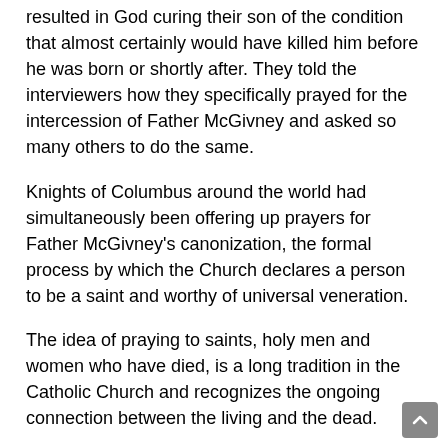resulted in God curing their son of the condition that almost certainly would have killed him before he was born or shortly after. They told the interviewers how they specifically prayed for the intercession of Father McGivney and asked so many others to do the same.
Knights of Columbus around the world had simultaneously been offering up prayers for Father McGivney's canonization, the formal process by which the Church declares a person to be a saint and worthy of universal veneration.
The idea of praying to saints, holy men and women who have died, is a long tradition in the Catholic Church and recognizes the ongoing connection between the living and the dead.